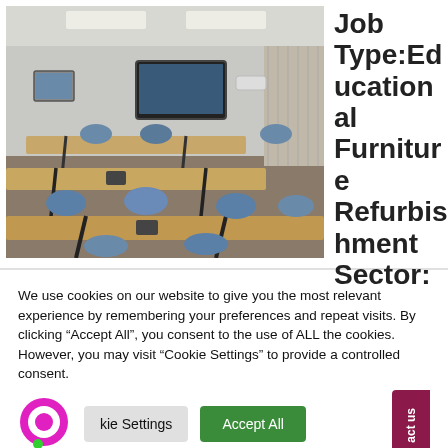[Figure (photo): Photo of a modern classroom/training room with rows of wooden tables and blue chairs, a screen on the wall, and strip lighting on the ceiling.]
Job Type:Educational Furniture Refurbishment Sector:
We use cookies on our website to give you the most relevant experience by remembering your preferences and repeat visits. By clicking “Accept All”, you consent to the use of ALL the cookies. However, you may visit "Cookie Settings" to provide a controlled consent.